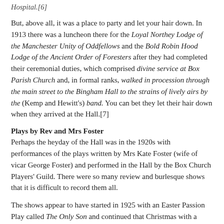Hospital.[6]
But, above all, it was a place to party and let your hair down. In 1913 there was a luncheon there for the Loyal Northey Lodge of the Manchester Unity of Oddfellows and the Bold Robin Hood Lodge of the Ancient Order of Foresters after they had completed their ceremonial duties, which comprised divine service at Box Parish Church and, in formal ranks, walked in procession through the main street to the Bingham Hall to the strains of lively airs by the (Kemp and Hewitt's) band. You can bet they let their hair down when they arrived at the Hall.[7]
Plays by Rev and Mrs Foster
Perhaps the heyday of the Hall was in the 1920s with performances of the plays written by Mrs Kate Foster (wife of vicar George Foster) and performed in the Hall by the Box Church Players' Guild. There were so many review and burlesque shows that it is difficult to record them all.
The shows appear to have started in 1925 with an Easter Passion Play called The Only Son and continued that Christmas with a Mystery Christmas Play called The Stranger, challenging the hard-heartedness of those whose religion is distinctly of a Pharisaical (sic) variety.[8]